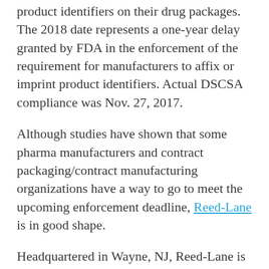product identifiers on their drug packages. The 2018 date represents a one-year delay granted by FDA in the enforcement of the requirement for manufacturers to affix or imprint product identifiers. Actual DSCSA compliance was Nov. 27, 2017.
Although studies have shown that some pharma manufacturers and contract packaging/contract manufacturing organizations have a way to go to meet the upcoming enforcement deadline, Reed-Lane is in good shape.
Headquartered in Wayne, NJ, Reed-Lane is a pharmaceutical contract packager (CP) that provides packaging to the pharmaceutical market for both prescription and over-the-